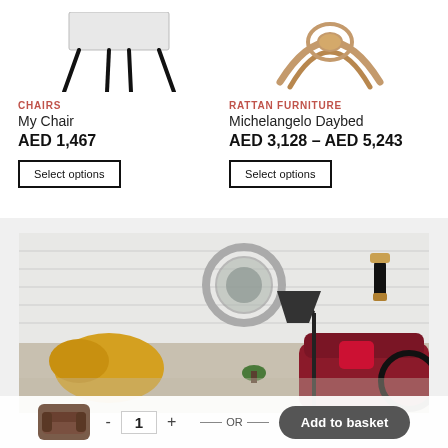[Figure (photo): Black chair with thin metal legs, cropped from top showing seat and legs]
CHAIRS
My Chair
AED 1,467
Select options
[Figure (photo): Rattan/wooden daybed with curved wooden frame, cropped showing top portion]
RATTAN FURNITURE
Michelangelo Daybed
AED 3,128 – AED 5,243
Select options
[Figure (photo): Living room interior with yellow and red chairs, circular mirror, floor lamp with cone shade, and wall sconce]
[Figure (photo): Brown sofa thumbnail in basket bar]
- 1 + — OR — Add to basket